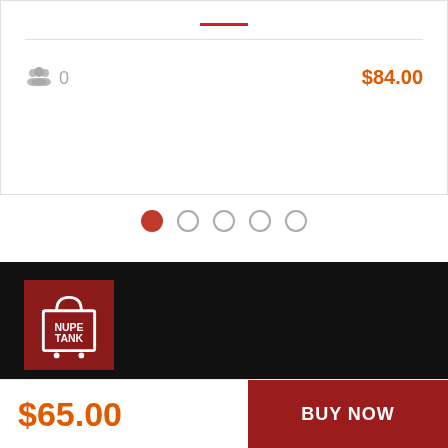[Figure (screenshot): Product card with red horizontal line, group icon showing 0 members, and price $84.00 in orange-red]
[Figure (infographic): Pagination dots: 5 dots, first filled red (active), rest outline circles]
[Figure (logo): NupeTank logo: red square with white shopping bag icon and NUPE TANK text]
(SMS) 313 454 1584
hello@nupetank.com
$65.00
BUY NOW